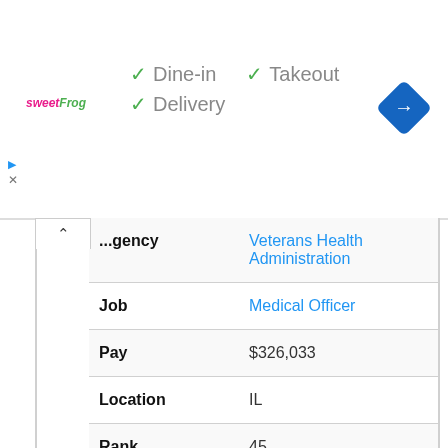[Figure (other): sweetFrog logo advertisement banner with Dine-in, Takeout, Delivery checkmarks and a navigation arrow icon]
| Field | Value |
| --- | --- |
| Agency | Veterans Health Administration |
| Job | Medical Officer |
| Pay | $326,033 |
| Location | IL |
| Rank | 45 |
| Name | Alexander, S. Engelman |
| Agency | Veterans Health Administration |